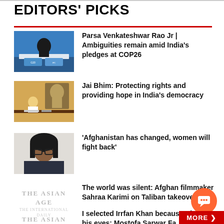EDITORS' PICKS
[Figure (photo): Photo of a person at COP26 podium]
Parsa Venkateshwar Rao Jr | Ambiguities remain amid India's pledges at COP26
[Figure (photo): Photo of a person at a desk with a portrait on the wall]
Jai Bhim: Protecting rights and providing hope in India's democracy
[Figure (photo): Photo of a woman with glasses]
'Afghanistan has changed, women will fight back'
[Figure (logo): The Asian Age logo]
The world was silent: Afghan filmmaker Sahraa Karimi on Taliban takeover
[Figure (logo): The Asian Age logo]
I selected Irrfan Khan because of his eyes: Mostofa Sarwar Fa…